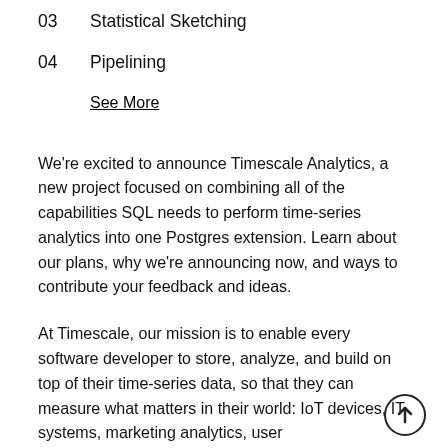03    Statistical Sketching
04    Pipelining
See More
We're excited to announce Timescale Analytics, a new project focused on combining all of the capabilities SQL needs to perform time-series analytics into one Postgres extension. Learn about our plans, why we're announcing now, and ways to contribute your feedback and ideas.
At Timescale, our mission is to enable every software developer to store, analyze, and build on top of their time-series data, so that they can measure what matters in their world: IoT devices, IT systems, marketing analytics, user